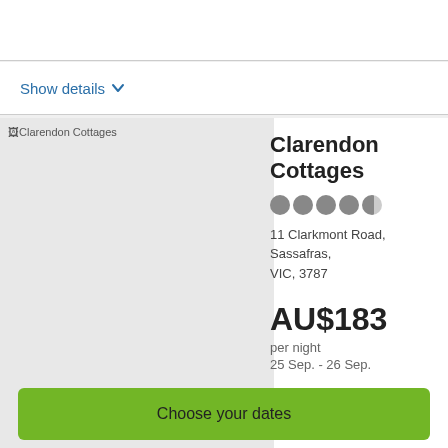Show details
Clarendon Cottages
11 Clarkmont Road, Sassafras, VIC, 3787
AU$183
per night
25 Sep. - 26 Sep.
Show details
Clarendon's Dovecote
Choose your dates